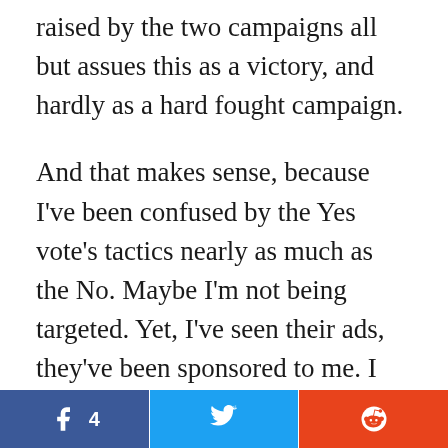raised by the two campaigns all but assues this as a victory, and hardly as a hard fought campaign.
And that makes sense, because I've been confused by the Yes vote's tactics nearly as much as the No. Maybe I'm not being targeted. Yet, I've seen their ads, they've been sponsored to me. I watch all the content they put out on the platforms I can monitor. But, if I'm being totally honest – I don't think anyone knows what this thing is. And maybe their goal was never to try